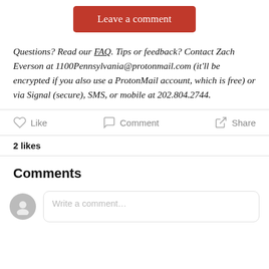[Figure (other): Red 'Leave a comment' button, centered]
Questions? Read our FAQ. Tips or feedback? Contact Zach Everson at 1100Pennsylvania@protonmail.com (it'll be encrypted if you also use a ProtonMail account, which is free) or via Signal (secure), SMS, or mobile at 202.804.2744.
[Figure (other): Social action bar with Like, Comment, Share icons]
2 likes
Comments
[Figure (other): Comment input area with avatar and placeholder text 'Write a comment...']